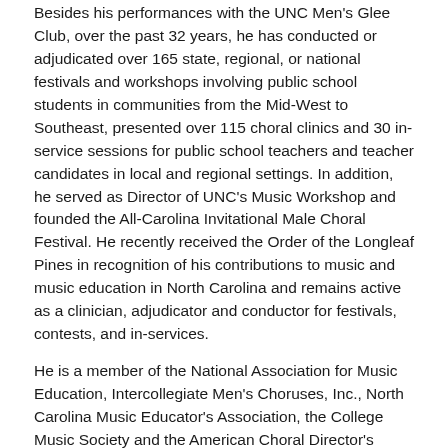Besides his performances with the UNC Men's Glee Club, over the past 32 years, he has conducted or adjudicated over 165 state, regional, or national festivals and workshops involving public school students in communities from the Mid-West to Southeast, presented over 115 choral clinics and 30 in-service sessions for public school teachers and teacher candidates in local and regional settings. In addition, he served as Director of UNC's Music Workshop and founded the All-Carolina Invitational Male Choral Festival. He recently received the Order of the Longleaf Pines in recognition of his contributions to music and music education in North Carolina and remains active as a clinician, adjudicator and conductor for festivals, contests, and in-services.
He is a member of the National Association for Music Education, Intercollegiate Men's Choruses, Inc., North Carolina Music Educator's Association, the College Music Society and the American Choral Director's Association.
[Figure (photo): Partial photo of a person (Susan Klebanow) showing top of head with blonde/light hair against a grey background, cropped at the bottom of the page.]
Susan Klebanow is the Director of Choral Activities at the